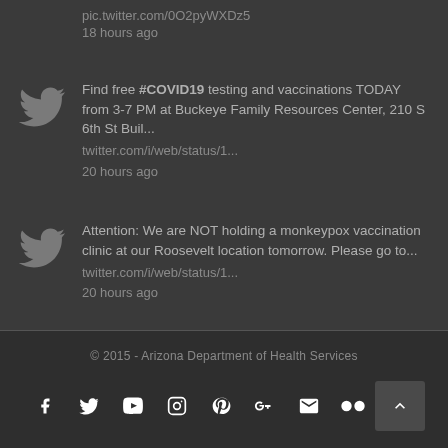pic.twitter.com/0O2pyWXDz5
18 hours ago
Find free #COVID19 testing and vaccinations TODAY from 3-7 PM at Buckeye Family Resources Center, 210 S 6th St Buil...
twitter.com/i/web/status/1...
20 hours ago
Attention: We are NOT holding a monkeypox vaccination clinic at our Roosevelt location tomorrow. Please go to...
twitter.com/i/web/status/1...
20 hours ago
© 2015 - Arizona Department of Health Services